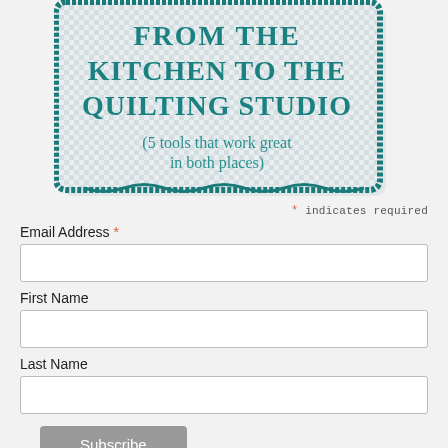[Figure (illustration): A decorative card/book cover image with a teal border on a light checkered background, showing the text 'FROM THE KITCHEN TO THE QUILTING STUDIO (5 tools that work great in both places)' in teal serif font]
* indicates required
Email Address *
First Name
Last Name
Subscribe